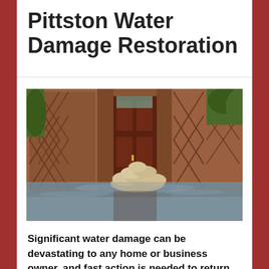Pittston Water Damage Restoration
[Figure (photo): A flooded brick building entrance with a dark red/maroon door, sandbags piled in front of the door, and water reflecting the scene on the ground.]
Significant water damage can be devastating to any home or business owner, and fast action is needed to return your structure to pre-disaster conditions quickly. D...